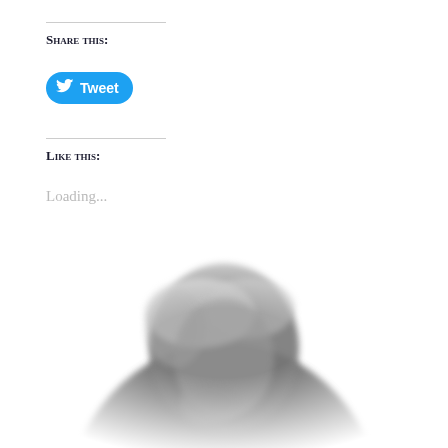Share this:
[Figure (other): Twitter Tweet button — blue rounded rectangle with bird icon and 'Tweet' text]
Like this:
Loading...
[Figure (photo): Black and white blurred photograph of an elderly person with white hair, hand near face, circular vignette effect]
[Figure (other): Grey back-to-top button with upward chevron arrow on right side of page]